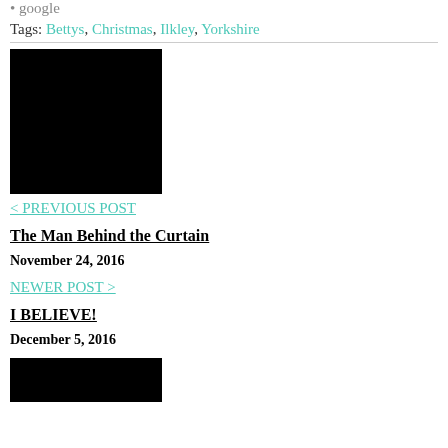google
Tags: Bettys, Christmas, Ilkley, Yorkshire
[Figure (photo): Black rectangular image (photo content not visible)]
< PREVIOUS POST
The Man Behind the Curtain
November 24, 2016
NEWER POST >
I BELIEVE!
December 5, 2016
[Figure (photo): Black rectangular image (photo content not visible, partial)]